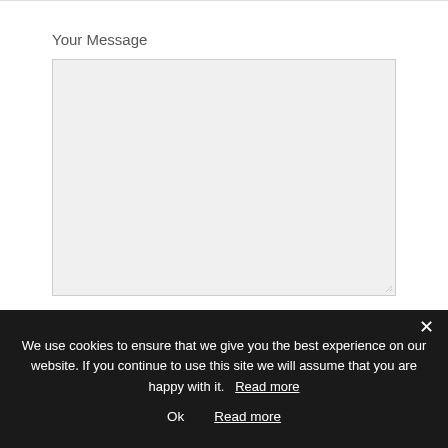Your Message
[Figure (screenshot): Empty textarea input field with light gray background and resize handle at bottom-right]
We use cookies to ensure that we give you the best experience on our website. If you continue to use this site we will assume that you are happy with it.  Read more
Ok    Read more